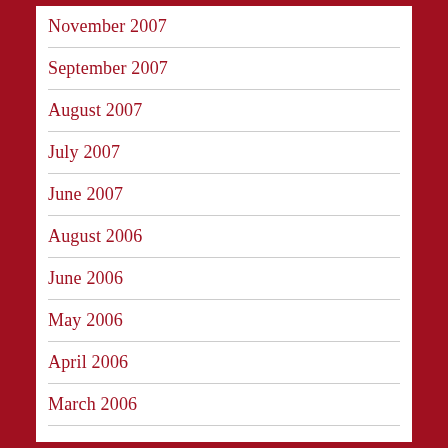November 2007
September 2007
August 2007
July 2007
June 2007
August 2006
June 2006
May 2006
April 2006
March 2006